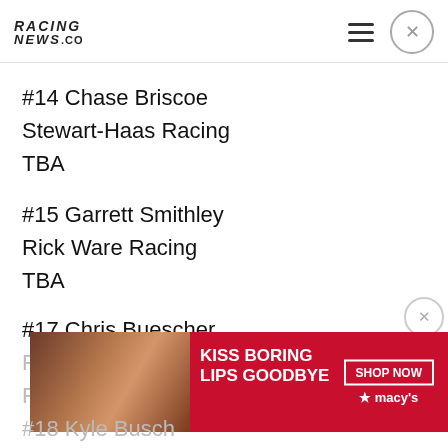RACING NEWS.CO
#14 Chase Briscoe
Stewart-Haas Racing
TBA
#15 Garrett Smithley
Rick Ware Racing
TBA
#17 Chris Buescher
Roush Fenway Racing
Fifth…
[Figure (infographic): Macy's advertisement banner: 'KISS BORING LIPS GOODBYE' with SHOP NOW button and Macy's star logo]
#18 Kyle Busch